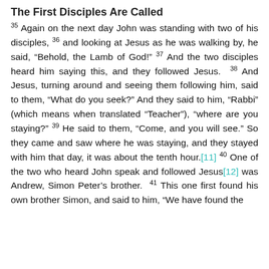The First Disciples Are Called
35 Again on the next day John was standing with two of his disciples, 36 and looking at Jesus as he was walking by, he said, “Behold, the Lamb of God!” 37 And the two disciples heard him saying this, and they followed Jesus. 38 And Jesus, turning around and seeing them following him, said to them, “What do you seek?” And they said to him, “Rabbi” (which means when translated “Teacher”), “where are you staying?” 39 He said to them, “Come, and you will see.” So they came and saw where he was staying, and they stayed with him that day, it was about the tenth hour.[11] 40 One of the two who heard John speak and followed Jesus[12] was Andrew, Simon Peter’s brother. 41 This one first found his own brother Simon, and said to him, “We have found the